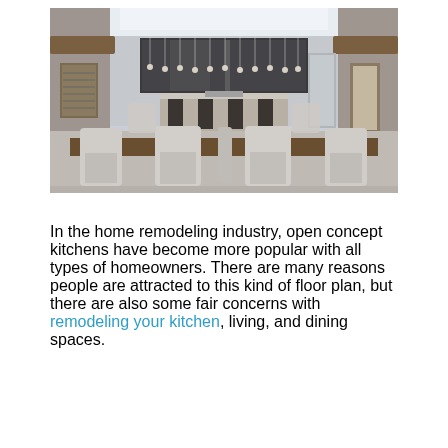[Figure (photo): Modern open concept kitchen with a large island, pendant lights, dining chairs in foreground, tall ceilings with exposed beams and large windows]
In the home remodeling industry, open concept kitchens have become more popular with all types of homeowners. There are many reasons people are attracted to this kind of floor plan, but there are also some fair concerns with remodeling your kitchen, living, and dining spaces.